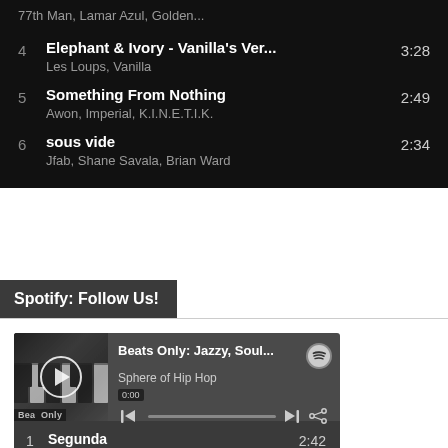77th Man, Lamar Azul, Golden...
4  Elephant & Ivory - Vanilla's Ver...  3:28
Les Loups, Vanilla
5  Something From Nothing  2:49
Awon, Imperial, K.I.N.E.T.I.K.
6  sous vide  2:34
Jfab, Shane Savala, Brian Ward
Spotify: Follow Us!
[Figure (screenshot): Spotify embedded player widget showing 'Beats Only: Jazzy, Soul...' playlist by Sphere of Hip Hop, with play button, progress bar at 0:00, and Spotify logo]
1  Segunda  2:42
Billa Qause, Mononome